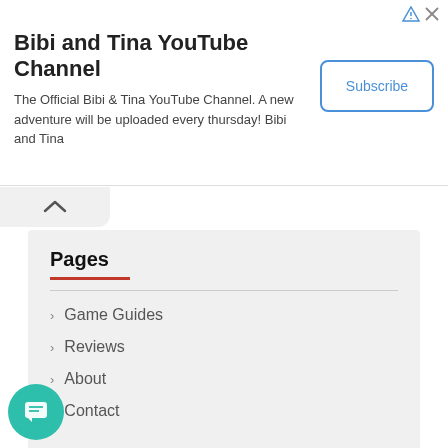[Figure (screenshot): Ad banner for Bibi and Tina YouTube Channel with Subscribe button and ad icons]
Bibi and Tina YouTube Channel
The Official Bibi & Tina YouTube Channel. A new adventure will be uploaded every thursday! Bibi and Tina
Pages
Game Guides
Reviews
About
Contact
Recent Posts
Lost Riches Day 1 All 3 Treasure Area 1 Clue and